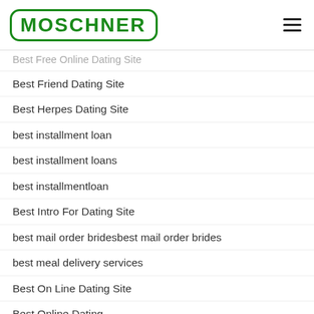[Figure (logo): MOSCHNER logo in green with rounded rectangle border]
Best Free Online Dating Site
Best Friend Dating Site
Best Herpes Dating Site
best installment loan
best installment loans
best installmentloan
Best Intro For Dating Site
best mail order bridesbest mail order brides
best meal delivery services
Best On Line Dating Site
Best Online Dating
Best Online Dating Site For Men
Best Online Dating Site For Women